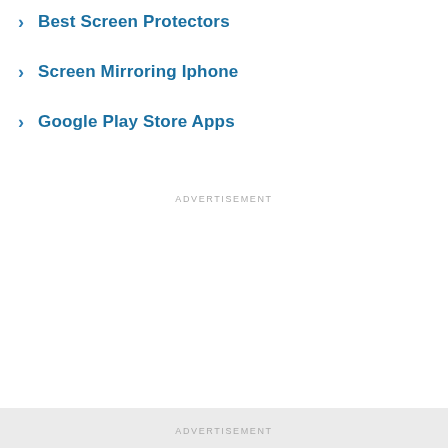Best Screen Protectors
Screen Mirroring Iphone
Google Play Store Apps
ADVERTISEMENT
ADVERTISEMENT